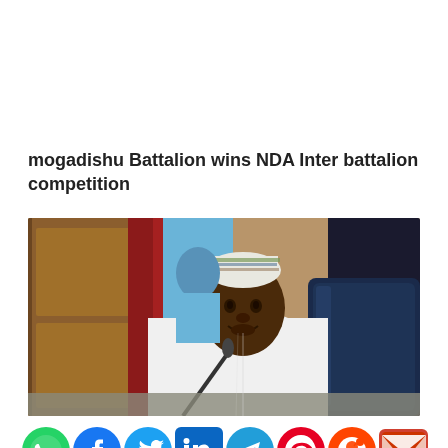...mogadishu Battalion wins NDA Inter battalion shooting competition
[Figure (photo): A man in white traditional Nigerian attire and embroidered cap sitting in a blue leather chair, speaking into a microphone at a desk, with a wooden door and red curtain in the background.]
[Figure (infographic): Row of social media share icons: WhatsApp (green), Facebook (dark blue), Twitter (light blue), LinkedIn (blue square), Telegram (blue), Pinterest (red), Reddit (orange), Email (red envelope)]